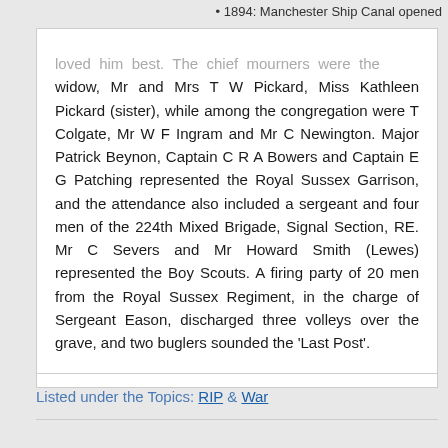1894: Manchester Ship Canal opened
loved him best. The chief mourners were the widow, Mr and Mrs T W Pickard, Miss Kathleen Pickard (sister), while among the congregation were T Colgate, Mr W F Ingram and Mr C Newington. Major Patrick Beynon, Captain C R A Bowers and Captain E G Patching represented the Royal Sussex Garrison, and the attendance also included a sergeant and four men of the 224th Mixed Brigade, Signal Section, RE. Mr C Severs and Mr Howard Smith (Lewes) represented the Boy Scouts. A firing party of 20 men from the Royal Sussex Regiment, in the charge of Sergeant Eason, discharged three volleys over the grave, and two buglers sounded the 'Last Post'.
Listed under the Topics: RIP & War